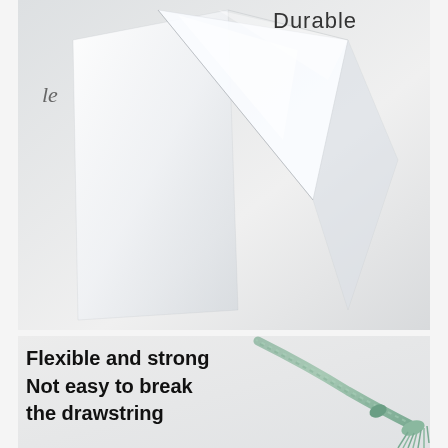[Figure (photo): Close-up photo of a translucent/frosted plastic bag or sheet folded into a triangular shape on a white background, with the word 'Durable' in the upper right and partial italic text on the left side.]
[Figure (photo): Photo of a mint/sage green braided drawstring cord with tassel ends on a light background, with text overlay reading 'Flexible and strong Not easy to break the drawstring'.]